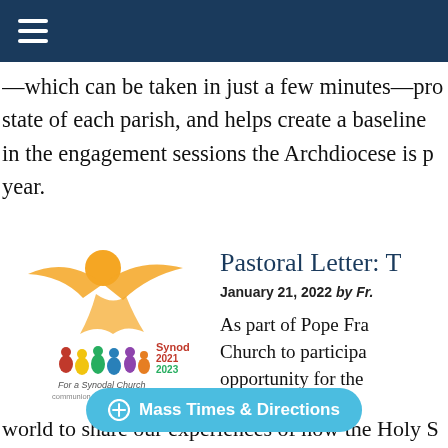—which can be taken in just a few minutes—pro state of each parish, and helps create a baseline in the engagement sessions the Archdiocese is p year.
[Figure (logo): Synod 2021-2023 'For a Synodal Church: communion | participation | mission' logo with orange sun and stylized figure with wings above a group of colorful people]
Pastoral Letter: T
January 21, 2022 by Fr.
As part of Pope Fra Church to participa opportunity for the
world to share our experiences of how the Holy S
Mass Times & Directions